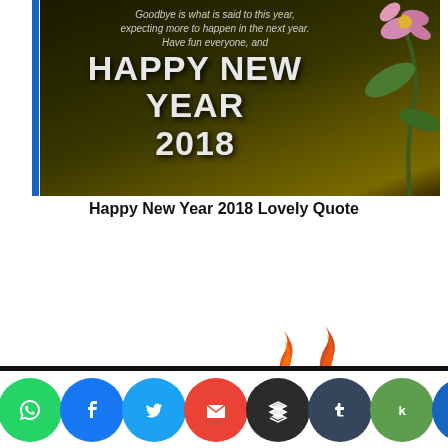[Figure (photo): Happy New Year 2018 banner image with dark olive/black background, large white bold text 'HAPPY NEW YEAR 2018', italic quote text above it, and pink flower/plant decoration on the right side.]
Happy New Year 2018 Lovely Quote
CrazyTechTricks uses cookies to ensure you get the best experience on the website.
Know more
OKAY
[Figure (screenshot): Row of social media share buttons: WhatsApp (green), Facebook (blue), Twitter (light blue), Gmail (red), Buffer (dark), Tumblr (navy), Kik (green), another (blue).]